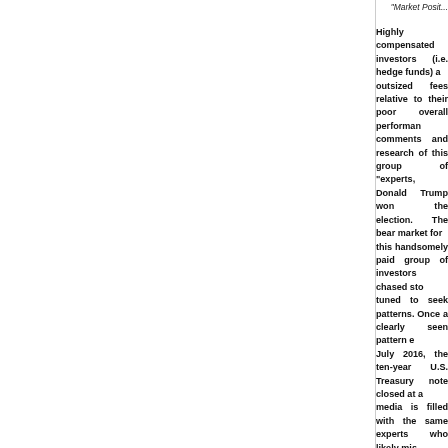"Market Posi...
Highly compensated investors (i.e. hedge funds) a... outsized fees relative to their poor overall performan... comments and research of this group of "experts,... Donald Trump won the election. The bear market for... this handsomely paid group of investors chased sto... tuned to seek patterns. Once a clearly seen pattern e... July 2016, the ten-year U.S. Treasury note closed at a... media is filled with the same experts who likely mis... 6% in the next few years due to inflation taking o... function of what has yet to be fully "priced in." Mark... "black swan" event will almost always be reverse... investors as an opportunity to reallocate according... quite a bit of pessimism priced into tax-free bonds.... the future in 2017.
A record amount of municipal bond issuance in 201... the year. Given all of the buzz about "infrastructu... would expect a sizeable amount of new issue supp... portfolio, potential excess supply should be viewed... upgrade the overall credit quality of the portfolio wit... be us). Investors should always remember that a sep... during periods of rising interest rates. As long as th... capital plus accrued interest is assured.
The year ahead, 2017, will be about... (truncated)